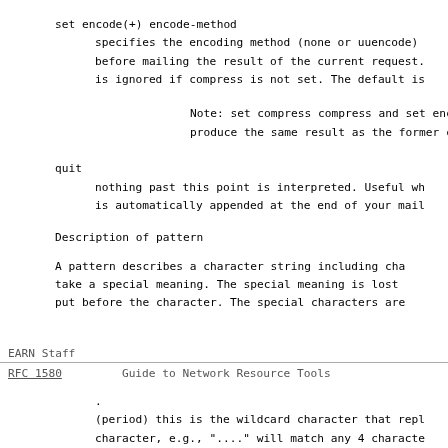set encode(+)  encode-method
    specifies the encoding method (none or uuencode)
    before mailing the result of the current request.
    is ignored if compress is not set. The default is
Note: set compress compress and set encode uuenco
    produce the same result as the former compress co
quit
    nothing past this point is interpreted. Useful wh
    is automatically appended at the end of your mail
Description of pattern
A pattern describes a character string including cha
take a special meaning. The special meaning is lost
put before the character. The special characters are
EARN Staff
RFC 1580                 Guide to Network Resource Tools
.
    (period) this is the wildcard character that repl
    character, e.g., "...." will match any 4 characte